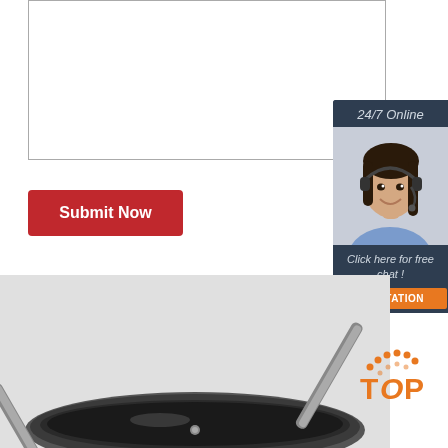Message:
Submit Now
[Figure (infographic): 24/7 Online chat widget with a customer service representative wearing a headset, dark navy background, 'Click here for free chat!' text, and an orange QUOTATION button]
[Figure (photo): Close-up photo of stainless steel cookware/wok handles on a gray background]
[Figure (logo): Orange TOP logo with dots above forming an arc/arrow shape]